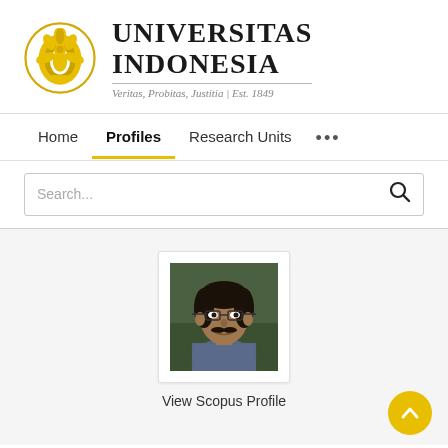[Figure (logo): Universitas Indonesia logo with golden emblem and text 'UNIVERSITAS INDONESIA', tagline 'Veritas, Probitas, Justitia | Est. 1849']
Home   Profiles   Research Units   ...
Search...
[Figure (photo): Profile photo of a man with glasses and mustache, wearing a patterned shirt]
View Scopus Profile